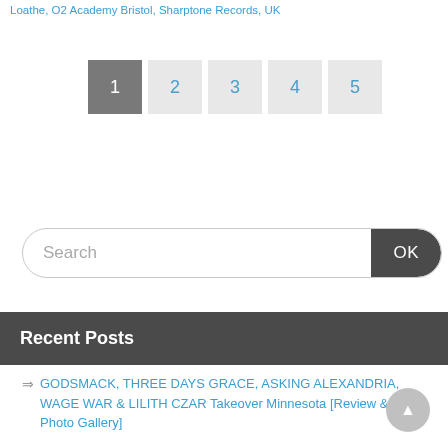Loathe, O2 Academy Bristol, Sharptone Records, UK
1 2 3 4 5 (pagination)
Search OK
Recent Posts
⇒ GODSMACK, THREE DAYS GRACE, ASKING ALEXANDRIA, WAGE WAR & LILITH CZAR Takeover Minnesota [Review & Photo Gallery]